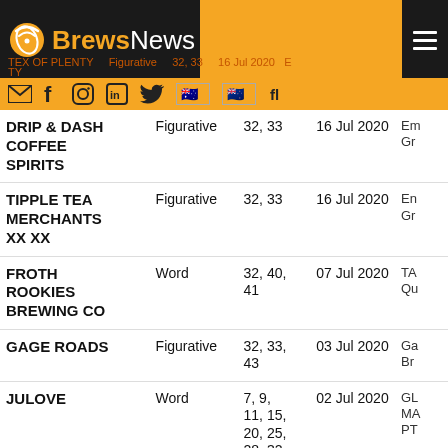BrewsNews
| Trade Mark | Type | Classes | Date | Owner |
| --- | --- | --- | --- | --- |
| DRIP & DASH COFFEE SPIRITS | Figurative | 32, 33 | 16 Jul 2020 | En... Gr... |
| TIPPLE TEA MERCHANTS XX XX | Figurative | 32, 33 | 16 Jul 2020 | En... Gr... |
| FROTH ROOKIES BREWING CO | Word | 32, 40, 41 | 07 Jul 2020 | TA... Qu... |
| GAGE ROADS | Figurative | 32, 33, 43 | 03 Jul 2020 | Ga... Br... |
| JULOVE | Word | 7, 9, 11, 15, 20, 25, 28, 32, 33, 35 | 02 Jul 2020 | GL... MA... PT... |